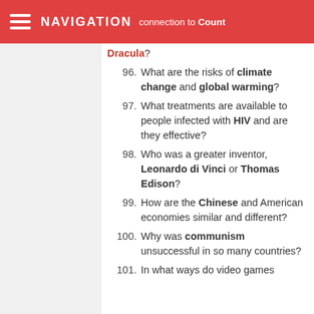NAVIGATION ... connection to Count Dracula?
96. What are the risks of climate change and global warming?
97. What treatments are available to people infected with HIV and are they effective?
98. Who was a greater inventor, Leonardo di Vinci or Thomas Edison?
99. How are the Chinese and American economies similar and different?
100. Why was communism unsuccessful in so many countries?
101. In what ways do video games...